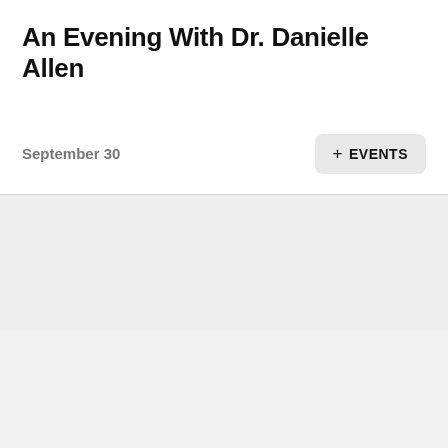An Evening With Dr. Danielle Allen
September 30
+ EVENTS